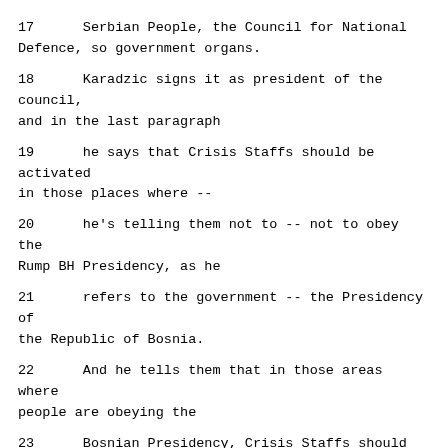17      Serbian People, the Council for National Defence, so government organs.
18      Karadzic signs it as president of the council, and in the last paragraph
19      he says that Crisis Staffs should be activated in those places where --
20      he's telling them not to -- not to obey the Rump BH Presidency, as he
21      refers to the government -- the Presidency of the Republic of Bosnia.
22      And he tells them that in those areas where people are obeying the
23      Bosnian Presidency, Crisis Staffs should be